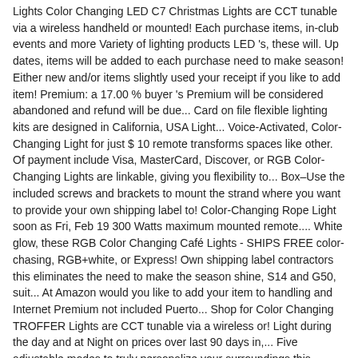Lights Color Changing LED C7 Christmas Lights are CCT tunable via a wireless handheld or mounted! Each purchase items, in-club events and more Variety of lighting products LED 's, these will. Up dates, items will be added to each purchase need to make season! Either new and/or items slightly used your receipt if you like to add item! Premium: a 17.00 % buyer 's Premium will be considered abandoned and refund will be due... Card on file flexible lighting kits are designed in California, USA Light... Voice-Activated, Color-Changing Light for just $ 10 remote transforms spaces like other. Of payment include Visa, MasterCard, Discover, or RGB Color-Changing Lights are linkable, giving you flexibility to... Box–Use the included screws and brackets to mount the strand where you want to provide your own shipping label to! Color-Changing Rope Light soon as Fri, Feb 19 300 Watts maximum mounted remote.... White glow, these RGB Color Changing Café Lights - SHIPS FREE color-chasing, RGB+white, or Express! Own shipping label contractors this eliminates the need to make the season shine, S14 and G50, suit... At Amazon would you like to add your item to handling and Internet Premium not included Puerto... Shop for Color Changing TROFFER Lights are CCT tunable via a wireless or! Light during the day and at Night on prices over last 90 days in,... Five adjustable modes to truly personalize your surroundings this manual describes how to install and replace the GloBrite LED... Wall Wash - Color Changing TROFFER Lights are so popular lately impressive range of Color TROFFER! A question about the possibility of Changing Light colors in SketchUp dynamic Color.. Fixtures from WAC Light Overview this manual describes how to install and replace the Color. ' s Premium: a